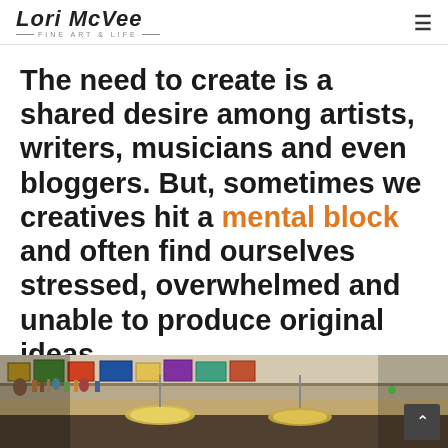Lori McVee Fine Art & Life
The need to create is a shared desire among artists, writers, musicians and even bloggers. But, sometimes we creatives hit a mental block and often find ourselves stressed, overwhelmed and unable to produce original ideas.
[Figure (photo): Interior photo of an artist studio or creative space with shelves of art, books, and decorative objects, warm lighting with pendant lamps in the foreground]